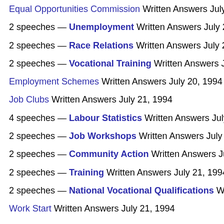Equal Opportunities Commission Written Answers July 20, 1994
2 speeches — Unemployment Written Answers July 20, 1994
2 speeches — Race Relations Written Answers July 20, 1994
2 speeches — Vocational Training Written Answers July 20, 1994
Employment Schemes Written Answers July 20, 1994
Job Clubs Written Answers July 21, 1994
4 speeches — Labour Statistics Written Answers July 21, 1994
2 speeches — Job Workshops Written Answers July 21, 1994
2 speeches — Community Action Written Answers July 21, 1994
2 speeches — Training Written Answers July 21, 1994
2 speeches — National Vocational Qualifications Written Answers
Work Start Written Answers July 21, 1994